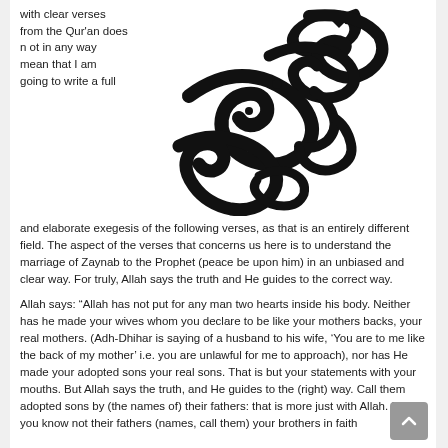with clear verses from the Qur'an does n ot in any way mean that I am going to write a full and elaborate exegesis of the following verses, as that is an entirely different field. The aspect of the verses that concerns us here is to understand the marriage of Zaynab to the Prophet (peace be upon him) in an unbiased and clear way. For truly, Allah says the truth and He guides to the correct way.
[Figure (illustration): Large decorative Arabic calligraphy text in black on white background]
Allah says: “Allah has not put for any man two hearts inside his body. Neither has he made your wives whom you declare to be like your mothers backs, your real mothers. (Adh-Dhihar is saying of a husband to his wife, ‘You are to me like the back of my mother’ i.e. you are unlawful for me to approach), nor has He made your adopted sons your real sons. That is but your statements with your mouths. But Allah says the truth, and He guides to the (right) way. Call them adopted sons by (the names of) their fathers: that is more just with Allah. But if you know not their fathers (names, call them) your brothers in faith